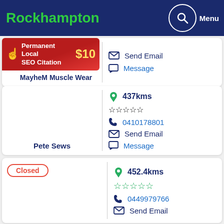Rockhampton  Menu
[Figure (infographic): Permanent Local SEO Citation $10 banner with hand pointer icon]
MayheM Muscle Wear
Send Email
Message
437kms
0410178801
Send Email
Message
Pete Sews
Closed
452.4kms
0449979766
Send Email